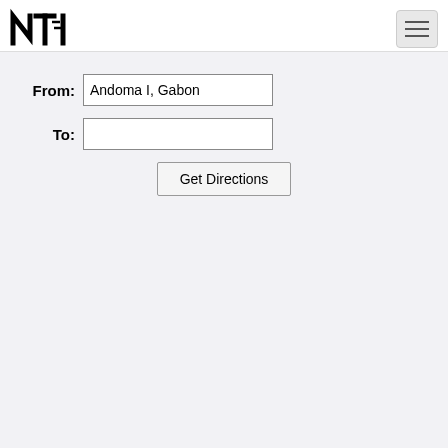[Figure (logo): NTI logo in black, stylized letters N, T, I with motion lines]
[Figure (other): Hamburger menu button (three horizontal lines) in a rounded rectangle]
From: Andoma I, Gabon
To:
Get Directions